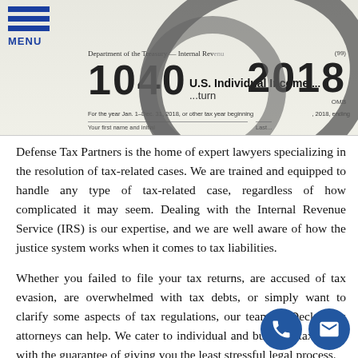[Figure (photo): Photo of IRS Form 1040 U.S. Individual Income Tax Return 2018 with handcuffs overlaid, alongside a hamburger menu icon and MENU label in blue]
Defense Tax Partners is the home of expert lawyers specializing in the resolution of tax-related cases. We are trained and equipped to handle any type of tax-related case, regardless of how complicated it may seem. Dealing with the Internal Revenue Service (IRS) is our expertise, and we are well aware of how the justice system works when it comes to tax liabilities.
Whether you failed to file your tax returns, are accused of tax evasion, are overwhelmed with tax debts, or simply want to clarify some aspects of tax regulations, our team of Decker tax attorneys can help. We cater to individual and business taxpayers with the guarantee of giving you the least stressful legal process.